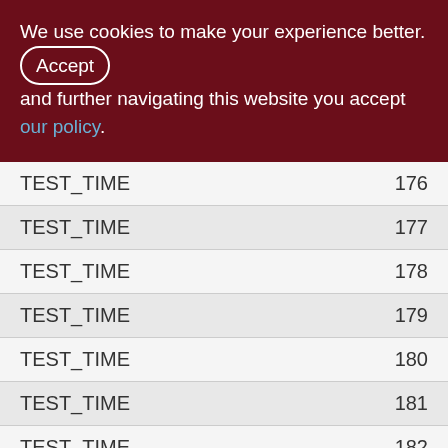We use cookies to make your experience better. By accepting and further navigating this website you accept our policy.
| Name | Value |
| --- | --- |
| TEST_TIME | 176 |
| TEST_TIME | 177 |
| TEST_TIME | 178 |
| TEST_TIME | 179 |
| TEST_TIME | 180 |
| TEST_TIME | 181 |
| TEST_TIME | 182 |
| TEST_TIME | 183 |
| TEST_TIME | 184 |